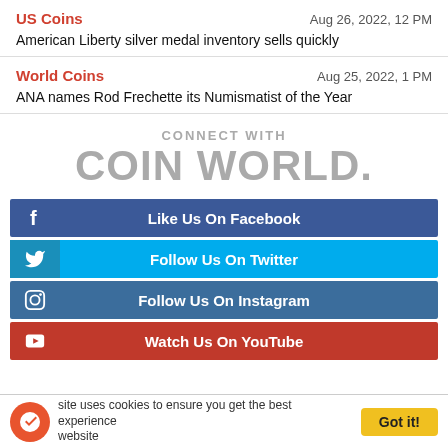US Coins
Aug 26, 2022, 12 PM
American Liberty silver medal inventory sells quickly
World Coins
Aug 25, 2022, 1 PM
ANA names Rod Frechette its Numismatist of the Year
[Figure (logo): CONNECT WITH COIN WORLD logo in gray]
[Figure (infographic): Social media buttons: Like Us On Facebook (blue), Follow Us On Twitter (light blue), Follow Us On Instagram (dark blue), Watch Us On YouTube (red)]
site uses cookies to ensure you get the best experience website